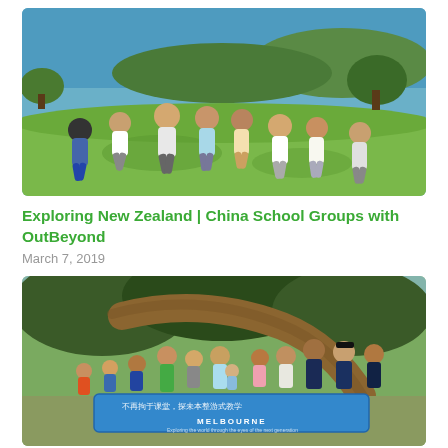[Figure (photo): Group of children and adults running energetically on a grassy hillside with ocean and green coast in the background on a sunny day.]
Exploring New Zealand | China School Groups with OutBeyond
March 7, 2019
[Figure (photo): Group of children and adults posing for a photo under large tree roots, holding a blue banner with Chinese text and the word MELBOURNE.]